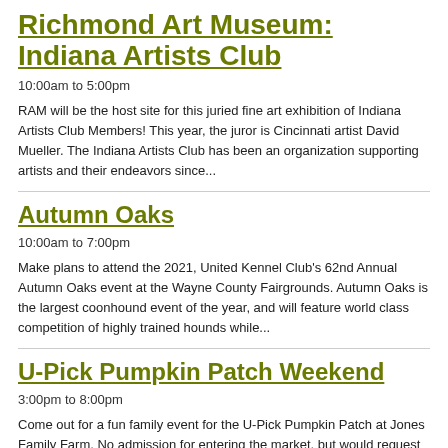Richmond Art Museum: Indiana Artists Club
10:00am to 5:00pm
RAM will be the host site for this juried fine art exhibition of Indiana Artists Club Members! This year, the juror is Cincinnati artist David Mueller. The Indiana Artists Club has been an organization supporting artists and their endeavors since...
Autumn Oaks
10:00am to 7:00pm
Make plans to attend the 2021, United Kennel Club's 62nd Annual Autumn Oaks event at the Wayne County Fairgrounds. Autumn Oaks is the largest coonhound event of the year, and will feature world class competition of highly trained hounds while...
U-Pick Pumpkin Patch Weekend
3:00pm to 8:00pm
Come out for a fun family event for the U-Pick Pumpkin Patch at Jones Family Farm. No admission for entering the market, but would request the purchase of something. From the market area from $1-$25. Farm and Agriculture...